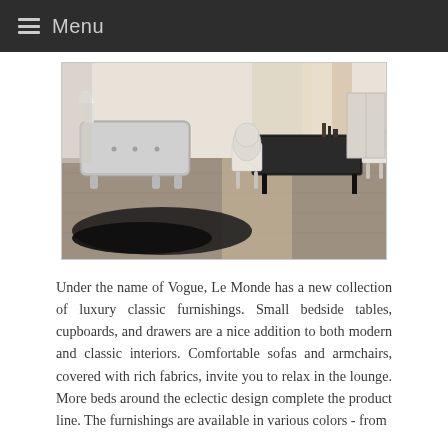Menu
[Figure (photo): Interior room photo showing a silver ornate sideboard/chest of drawers on the left, a dark fur rug on the floor, and a dining table with white medallion-back chairs on the right. The room has a light hardwood floor and curtained windows in the background.]
Under the name of Vogue, Le Monde has a new collection of luxury classic furnishings. Small bedside tables, cupboards, and drawers are a nice addition to both modern and classic interiors. Comfortable sofas and armchairs, covered with rich fabrics, invite you to relax in the lounge. More beds around the eclectic design complete the product line. The furnishings are available in various colors - from